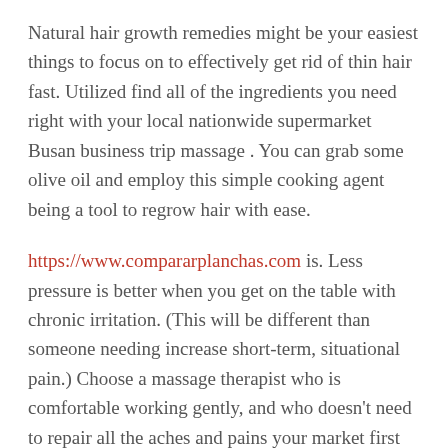Natural hair growth remedies might be your easiest things to focus on to effectively get rid of thin hair fast. Utilized find all of the ingredients you need right with your local nationwide supermarket Busan business trip massage . You can grab some olive oil and employ this simple cooking agent being a tool to regrow hair with ease.
https://www.compararplanchas.com is. Less pressure is better when you get on the table with chronic irritation. (This will be different than someone needing increase short-term, situational pain.) Choose a massage therapist who is comfortable working gently, and who doesn't need to repair all the aches and pains your market first an hour. Know that you do not need a deep tissue